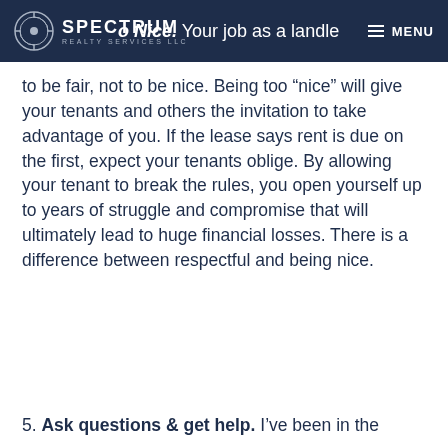SPECTRUM REALTY SERVICES LLC | to Nice. Your job as a landlord... | MENU
to be fair, not to be nice. Being too “nice” will give your tenants and others the invitation to take advantage of you. If the lease says rent is due on the first, expect your tenants oblige. By allowing your tenant to break the rules, you open yourself up to years of struggle and compromise that will ultimately lead to huge financial losses. There is a difference between respectful and being nice.
5. Ask questions & get help. I’ve been in the